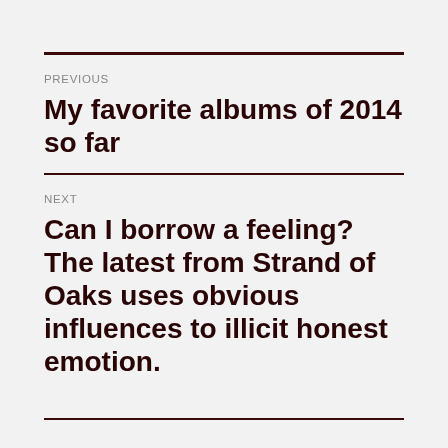PREVIOUS
My favorite albums of 2014 so far
NEXT
Can I borrow a feeling? The latest from Strand of Oaks uses obvious influences to illicit honest emotion.